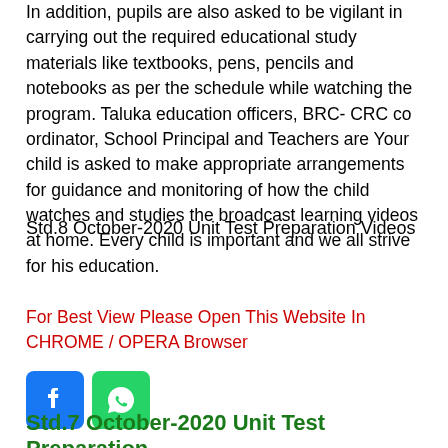In addition, pupils are also asked to be vigilant in carrying out the required educational study materials like textbooks, pens, pencils and notebooks as per the schedule while watching the program. Taluka education officers, BRC- CRC co ordinator, School Principal and Teachers are Your child is asked to make appropriate arrangements for guidance and monitoring of how the child watches and studies the broadcast learning videos at home. Every child is important and we all strive for his education.
Std.8 October-2020 Unit Test Preparation Videos
For Best View Please Open This Website In CHROME / OPERA Browser
[Figure (logo): Facebook and WhatsApp social media icons]
Std.7 October-2020 Unit Test Preparation